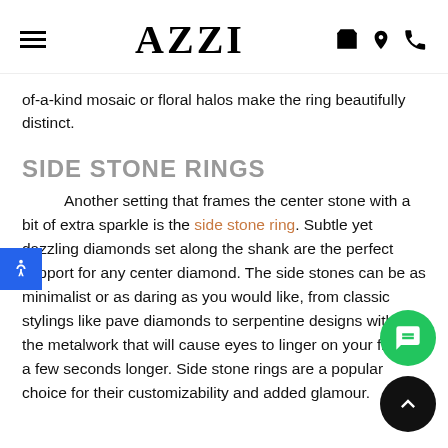AZZI
of-a-kind mosaic or floral halos make the ring beautifully distinct.
SIDE STONE RINGS
Another setting that frames the center stone with a bit of extra sparkle is the side stone ring. Subtle yet dazzling diamonds set along the shank are the perfect support for any center diamond. The side stones can be as minimalist or as daring as you would like, from classic stylings like pave diamonds to serpentine designs within the metalwork that will cause eyes to linger on your finger a few seconds longer. Side stone rings are a popular choice for their customizability and added glamour.